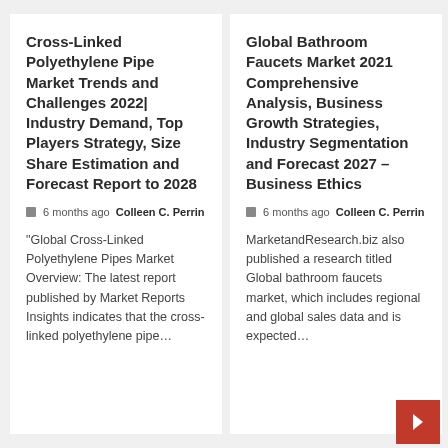Cross-Linked Polyethylene Pipe Market Trends and Challenges 2022| Industry Demand, Top Players Strategy, Size Share Estimation and Forecast Report to 2028
🕐 6 months ago  Colleen C. Perrin
"Global Cross-Linked Polyethylene Pipes Market Overview: The latest report published by Market Reports Insights indicates that the cross-linked polyethylene pipe...
Global Bathroom Faucets Market 2021 Comprehensive Analysis, Business Growth Strategies, Industry Segmentation and Forecast 2027 – Business Ethics
🕐 6 months ago  Colleen C. Perrin
MarketandResearch.biz also published a research titled Global bathroom faucets market, which includes regional and global sales data and is expected...